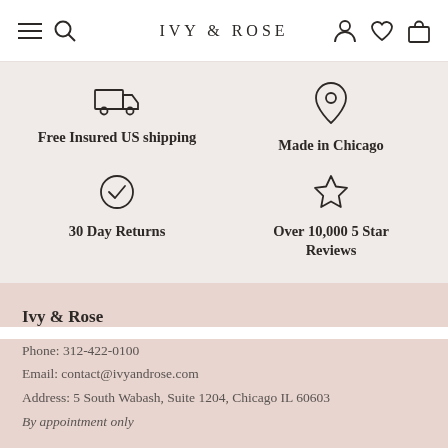IVY & ROSE
Free Insured US shipping
Made in Chicago
30 Day Returns
Over 10,000 5 Star Reviews
Ivy & Rose
Phone: 312-422-0100
Email: contact@ivyandrose.com
Address: 5 South Wabash, Suite 1204, Chicago IL 60603
By appointment only